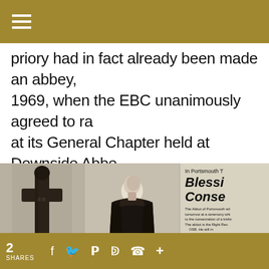Navigation menu bar
priory had in fact already been made an abbey, 1969, when the EBC unanimously agreed to ra at its General Chapter held at Downside Abbe
[Figure (photo): Newspaper clipping showing a stone cross on the left, a monk in black habit standing in the center, and a partially visible newspaper headline reading 'In Portsmouth T... Blessi... Conse...' with small body text about the Abbot of Portsmouth]
2 SHARES  f  Twitter  Pinterest  Reddit  WhatsApp  +